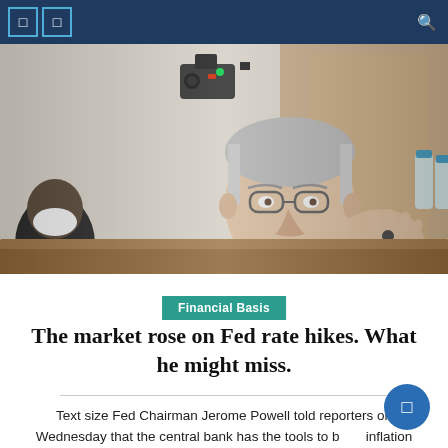Navigation bar with menu icons and search
[Figure (photo): Jerome Powell, Fed Chairman, speaking at a Congressional hearing, gesturing with his hand, with a microphone in front of him, wearing a dark suit and tie. Another person wearing a mask is visible in the lower left background.]
Financial Basis
The market rose on Fed rate hikes. What he might miss.
Text size Fed Chairman Jerome Powell told reporters on Wednesday that the central bank has the tools to bring inflation down. Photographer: Julia Nikhinson/Bloomberg This